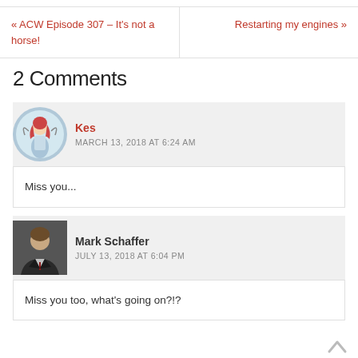« ACW Episode 307 – It's not a horse!
Restarting my engines »
2 Comments
Kes
MARCH 13, 2018 AT 6:24 AM
Miss you...
Mark Schaffer
JULY 13, 2018 AT 6:04 PM
Miss you too, what's going on?!?